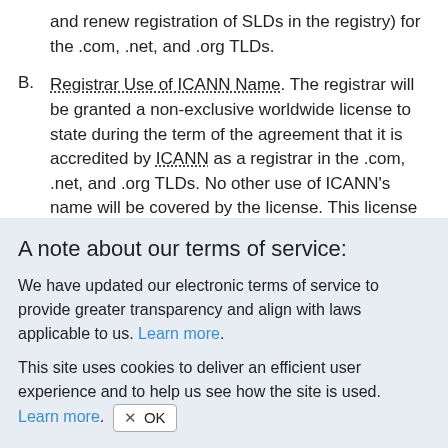and renew registration of SLDs in the registry) for the .com, .net, and .org TLDs.
B. Registrar Use of ICANN Name. The registrar will be granted a non-exclusive worldwide license to state during the term of the agreement that it is accredited by ICANN as a registrar in the .com, .net, and .org TLDs. No other use of ICANN's name will be covered by the license. This license may not be assigned
A note about our terms of service:
We have updated our electronic terms of service to provide greater transparency and align with laws applicable to us. Learn more.
This site uses cookies to deliver an efficient user experience and to help us see how the site is used. Learn more. OK